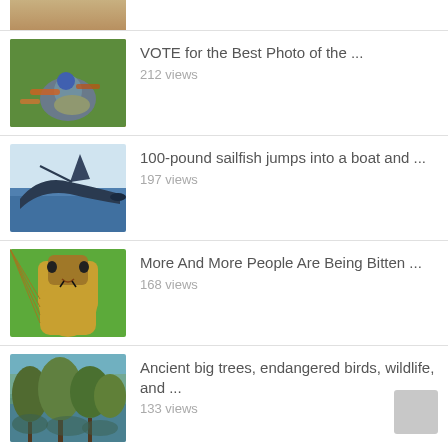[Figure (screenshot): Partial thumbnail of animals (top, cropped) — cheetah/animal on grass]
VOTE for the Best Photo of the ...
212 views
100-pound sailfish jumps into a boat and ...
197 views
More And More People Are Being Bitten ...
168 views
Ancient big trees, endangered birds, wildlife, and ...
133 views